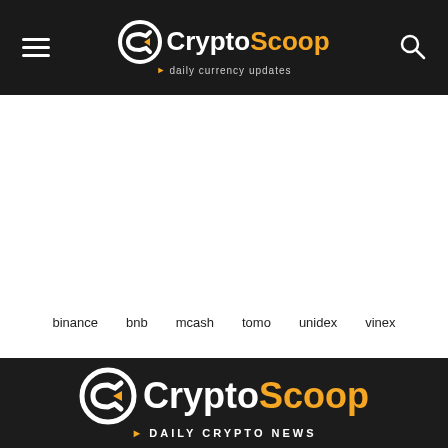CryptoScoop - daily currency updates
binance
bnb
mcash
tomo
unidex
vinex
[Figure (logo): CryptoScoop logo with tagline DAILY CRYPTO NEWS on dark background]